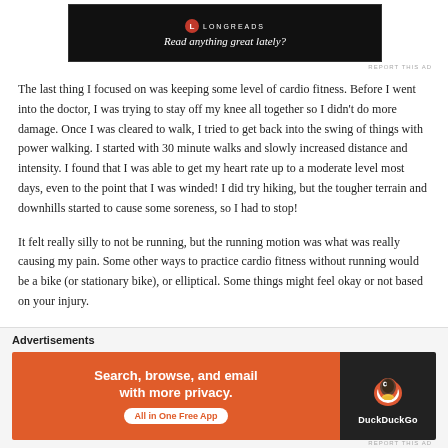[Figure (screenshot): Longreads advertisement banner with black background reading 'Read anything great lately?']
REPORT THIS AD
The last thing I focused on was keeping some level of cardio fitness. Before I went into the doctor, I was trying to stay off my knee all together so I didn't do more damage. Once I was cleared to walk, I tried to get back into the swing of things with power walking. I started with 30 minute walks and slowly increased distance and intensity. I found that I was able to get my heart rate up to a moderate level most days, even to the point that I was winded! I did try hiking, but the tougher terrain and downhills started to cause some soreness, so I had to stop!
It felt really silly to not be running, but the running motion was what was really causing my pain. Some other ways to practice cardio fitness without running would be a bike (or stationary bike), or elliptical. Some things might feel okay or not based on your injury.
Advertisements
[Figure (screenshot): DuckDuckGo advertisement banner: orange section reading 'Search, browse, and email with more privacy. All in One Free App' and dark section with DuckDuckGo logo]